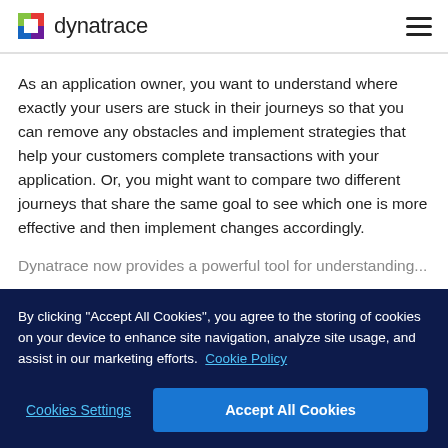dynatrace
As an application owner, you want to understand where exactly your users are stuck in their journeys so that you can remove any obstacles and implement strategies that help your customers complete transactions with your application. Or, you might want to compare two different journeys that share the same goal to see which one is more effective and then implement changes accordingly.
Dynatrace now provides a powerful tool for understanding...
By clicking "Accept All Cookies", you agree to the storing of cookies on your device to enhance site navigation, analyze site usage, and assist in our marketing efforts. Cookie Policy
Cookies Settings
Accept All Cookies